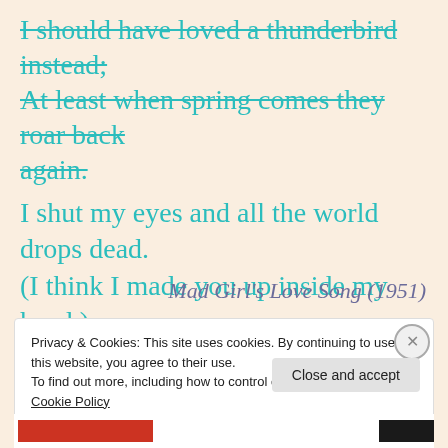I should have loved a thunderbird instead; At least when spring comes they roar back again.
I shut my eyes and all the world drops dead. (I think I made you up inside my head.)
Mad Girl's Love Song (1951)
Privacy & Cookies: This site uses cookies. By continuing to use this website, you agree to their use. To find out more, including how to control cookies, see here: Cookie Policy